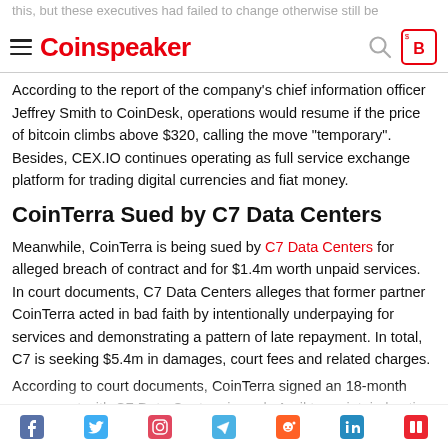this, but these executives had failed to change otherwise still be
Coinspeaker
According to the report of the company's chief information officer Jeffrey Smith to CoinDesk, operations would resume if the price of bitcoin climbs above $320, calling the move "temporary". Besides, CEX.IO continues operating as full service exchange platform for trading digital currencies and fiat money.
CoinTerra Sued by C7 Data Centers
Meanwhile, CoinTerra is being sued by C7 Data Centers for alleged breach of contract and for $1.4m worth unpaid services. In court documents, C7 Data Centers alleges that former partner CoinTerra acted in bad faith by intentionally underpaying for services and demonstrating a pattern of late repayment. In total, C7 is seeking $5.4m in damages, court fees and related charges.
According to court documents, CoinTerra signed an 18-month agreement with C7 Data Centers in early April to maintain hosting services and data center colocation. In accordance with a treaty, CoinTerra was also supposed to manage and supervise the data
Social share icons: Facebook, Twitter, Instagram, Telegram, Reddit, LinkedIn, other